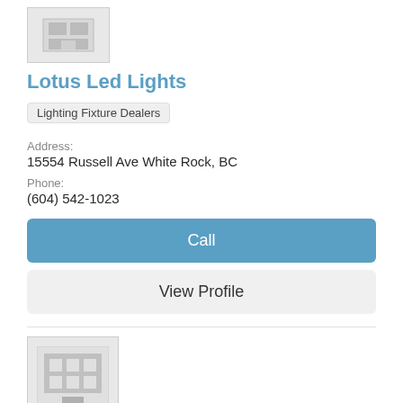[Figure (illustration): Placeholder business image icon - small building/store graphic]
Lotus Led Lights
Lighting Fixture Dealers
Address:
15554 Russell Ave White Rock, BC
Phone:
(604) 542-1023
Call
View Profile
[Figure (illustration): Placeholder business image icon - building with grid windows graphic]
Litesource Sales Inc
Lighting Fixture Dealers